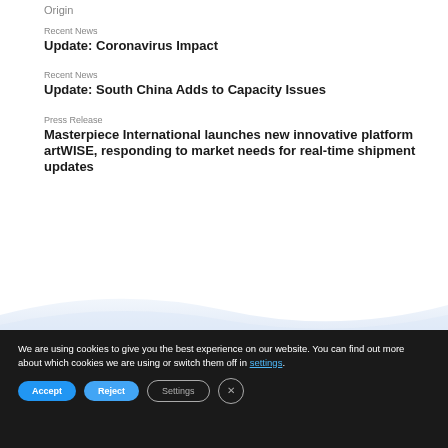Origin
Recent News
Update: Coronavirus Impact
Recent News
Update: South China Adds to Capacity Issues
Press Release
Masterpiece International launches new innovative platform artWISE, responding to market needs for real-time shipment updates
We are using cookies to give you the best experience on our website. You can find out more about which cookies we are using or switch them off in settings.
Accept
Reject
Settings